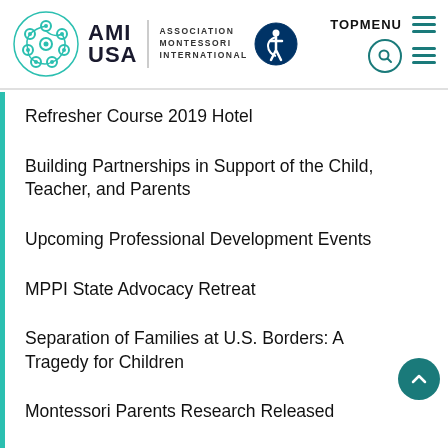AMI USA | Association Montessori International — TOPMENU
Refresher Course 2019 Hotel
Building Partnerships in Support of the Child, Teacher, and Parents
Upcoming Professional Development Events
MPPI State Advocacy Retreat
Separation of Families at U.S. Borders: A Tragedy for Children
Montessori Parents Research Released
Massachusetts Recognizes Montessori Teacher Credentials
Remembering Elizabeth Hall
Georgia Adopts New Montessori Teaching